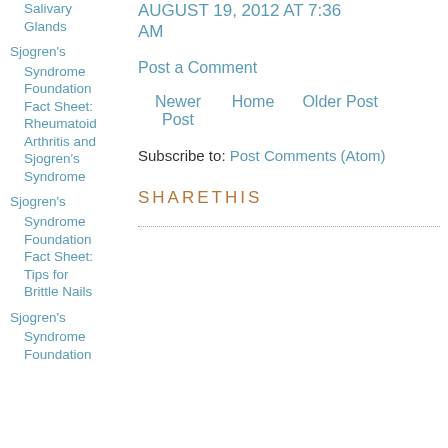Salivary Glands
Sjogren's Syndrome Foundation Fact Sheet: Rheumatoid Arthritis and Sjogren's Syndrome
Sjogren's Syndrome Foundation Fact Sheet: Tips for Brittle Nails
Sjogren's Syndrome Foundation
AUGUST 19, 2012 AT 7:36 AM
Post a Comment
Newer Post   Home   Older Post
Subscribe to: Post Comments (Atom)
SHARETHIS